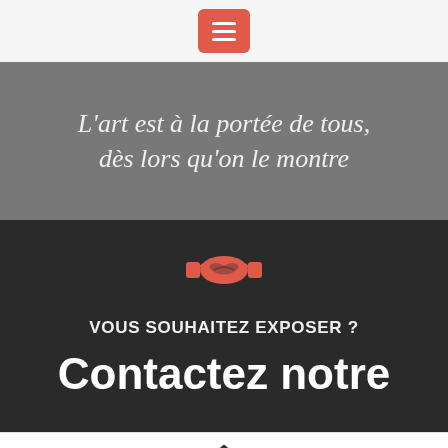Navigation menu button
L'art est à la portée de tous, dès lors qu'on le montre
[Figure (illustration): Handshake icon in coral/orange-red color on dark background]
VOUS SOUHAITEZ EXPOSER ?
Contactez notre
HOME